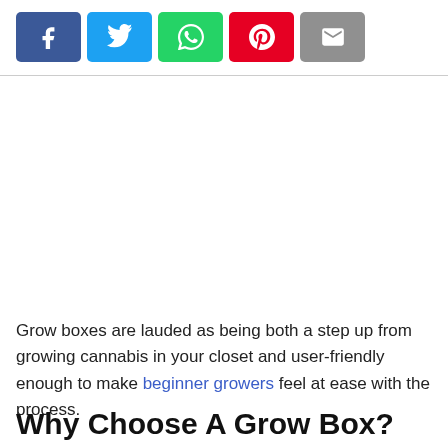[Figure (other): Row of five social share buttons: Facebook (blue), Twitter (light blue), WhatsApp (green), Pinterest (red), Email (grey)]
Grow boxes are lauded as being both a step up from growing cannabis in your closet and user-friendly enough to make beginner growers feel at ease with the process.
Why Choose A Grow Box?